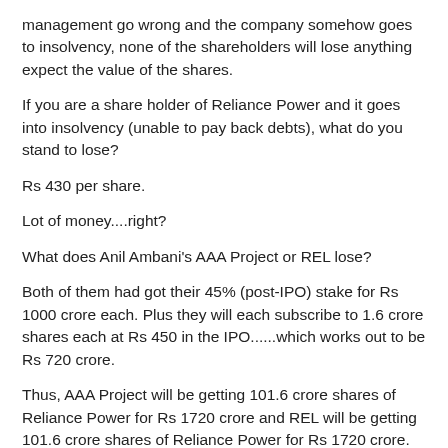management go wrong and the company somehow goes to insolvency, none of the shareholders will lose anything expect the value of the shares.
If you are a share holder of Reliance Power and it goes into insolvency (unable to pay back debts), what do you stand to lose?
Rs 430 per share.
Lot of money....right?
What does Anil Ambani's AAA Project or REL lose?
Both of them had got their 45% (post-IPO) stake for Rs 1000 crore each. Plus they will each subscribe to 1.6 crore shares each at Rs 450 in the IPO......which works out to be Rs 720 crore.
Thus, AAA Project will be getting 101.6 crore shares of Reliance Power for Rs 1720 crore and REL will be getting 101.6 crore shares of Reliance Power for Rs 1720 crore.